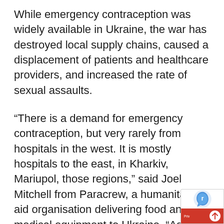While emergency contraception was widely available in Ukraine, the war has destroyed local supply chains, caused a displacement of patients and healthcare providers, and increased the rate of sexual assaults.
“There is a demand for emergency contraception, but very rarely from hospitals in the west. It is mostly hospitals to the east, in Kharkiv, Mariupol, those regions,” said Joel Mitchell from Paracrew, a humanitarian aid organisation delivering food and medical equipment to Ukraine. “As soon as we made contact with hospitals in those regions, we had standing orders for that medication.”